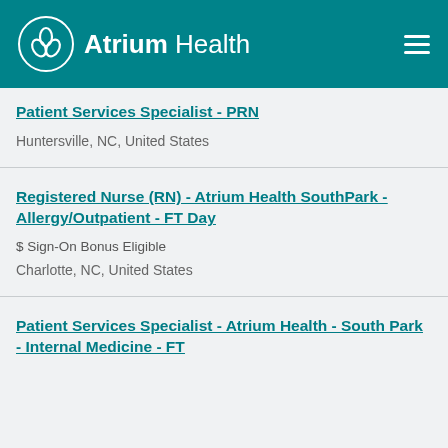Atrium Health
Patient Services Specialist - PRN
Huntersville, NC, United States
Registered Nurse (RN) - Atrium Health SouthPark - Allergy/Outpatient - FT Day
$ Sign-On Bonus Eligible
Charlotte, NC, United States
Patient Services Specialist - Atrium Health - South Park - Internal Medicine - FT